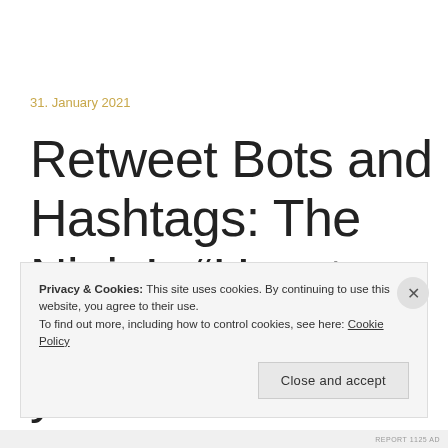31. January 2021
Retweet Bots and Hashtags: The Ninja’s “How to better promote your content on Twitter” Guide, Part 2
Privacy & Cookies: This site uses cookies. By continuing to use this website, you agree to their use.
To find out more, including how to control cookies, see here: Cookie Policy
REPORT 1125 AD